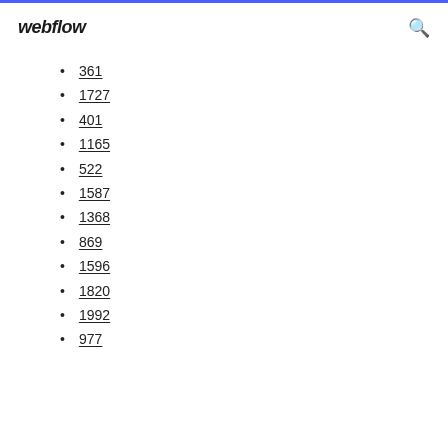webflow
361
1727
401
1165
522
1587
1368
869
1596
1820
1992
977